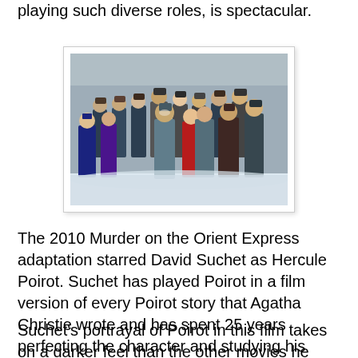playing such diverse roles, is spectacular.
[Figure (photo): Cast photo from the 2010 Murder on the Orient Express adaptation, showing a large group of actors in period winter costumes standing outdoors in snow.]
The 2010 Murder on the Orient Express adaptation starred David Suchet as Hercule Poirot. Suchet has played Poirot in a film version of every Poirot story that Agatha Christie wrote and has spent 25 years perfecting the character and studying his personality, mannerisms, and quirks.
Suchet's portrayal of Poirot in this film takes on a darker feel than the other movies he stars in. Poirot's